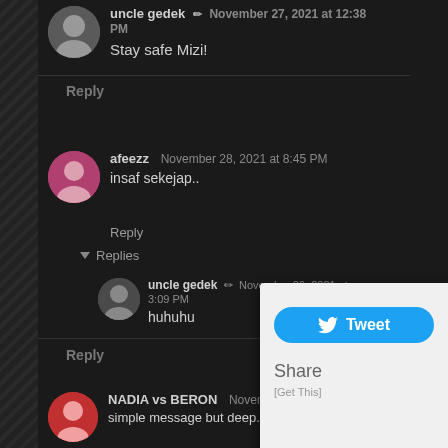uncle gedek • November 27, 2021 at 12:38 PM
Stay safe Mizi!
Reply
afeezz  November 28, 2021 at 8:45 PM
insaf sekejap..
Reply
▼ Replies
uncle gedek • November 29, 2021 at 3:09 PM
huhuhu
Reply
[Figure (screenshot): Twitter share popup with Tweet button and Share / [Get This] links]
NADIA vs BERON  November 29, 2021 at 12:02 PM
simple message but deep. sentap kejap. Eh kejap je? haha